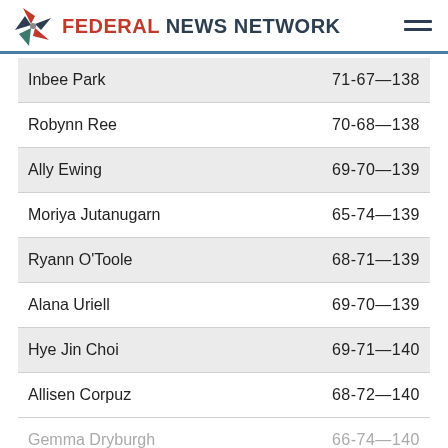FEDERAL NEWS NETWORK
| Player | Score |
| --- | --- |
| Inbee Park | 71-67—138 |
| Robynn Ree | 70-68—138 |
| Ally Ewing | 69-70—139 |
| Moriya Jutanugarn | 65-74—139 |
| Ryann O'Toole | 68-71—139 |
| Alana Uriell | 69-70—139 |
| Hye Jin Choi | 69-71—140 |
| Allisen Corpuz | 68-72—140 |
| Gemma Dryburgh | 66-74—140 |
| Ayaka Furue | 67-73—140 |